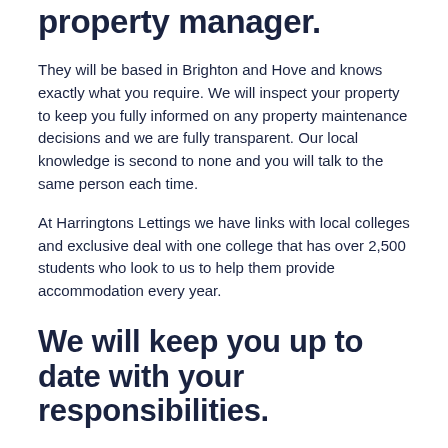property manager.
They will be based in Brighton and Hove and knows exactly what you require. We will inspect your property to keep you fully informed on any property maintenance decisions and we are fully transparent. Our local knowledge is second to none and you will talk to the same person each time.
At Harringtons Lettings we have links with local colleges and exclusive deal with one college that has over 2,500 students who look to us to help them provide accommodation every year.
We will keep you up to date with your responsibilities.
The landlord's responsibilities over the last few years have increased substantially. Landlords now have certain